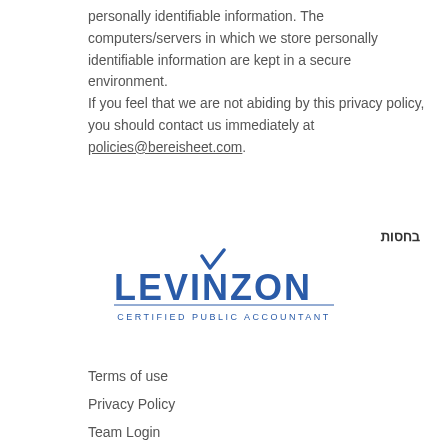personally identifiable information. The computers/servers in which we store personally identifiable information are kept in a secure environment.
If you feel that we are not abiding by this privacy policy, you should contact us immediately at policies@bereisheet.com.
בחסות
[Figure (logo): Levinzon Certified Public Accountant logo with blue checkmark above the V in LEVINZON]
Terms of use
Privacy Policy
Team Login